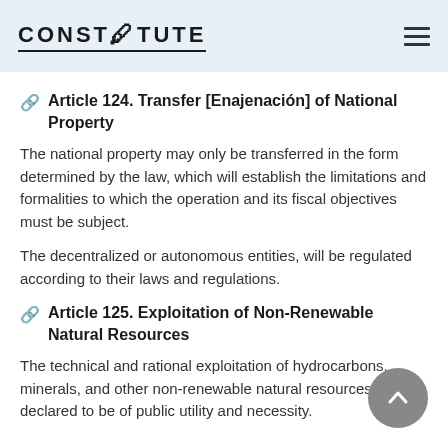CONSTITUTE
Article 124. Transfer [Enajenación] of National Property
The national property may only be transferred in the form determined by the law, which will establish the limitations and formalities to which the operation and its fiscal objectives must be subject.
The decentralized or autonomous entities, will be regulated according to their laws and regulations.
Article 125. Exploitation of Non-Renewable Natural Resources
The technical and rational exploitation of hydrocarbons, minerals, and other non-renewable natural resources is declared to be of public utility and necessity.